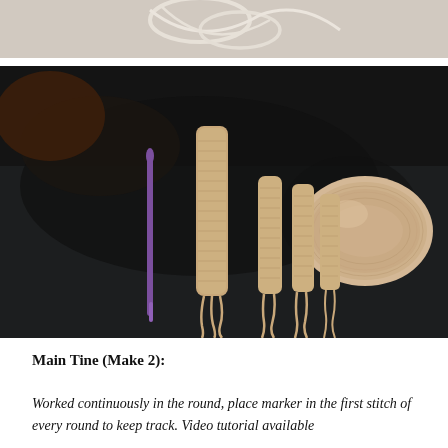[Figure (photo): Partial view of a crochet work in progress showing yarn against a dark surface, cropped at top of page]
[Figure (photo): Photograph of four crocheted finger-shaped pieces in beige yarn laid out on a dark surface next to a purple crochet hook and a skein of beige yarn]
Main Tine (Make 2):
Worked continuously in the round, place marker in the first stitch of every round to keep track. Video tutorial available